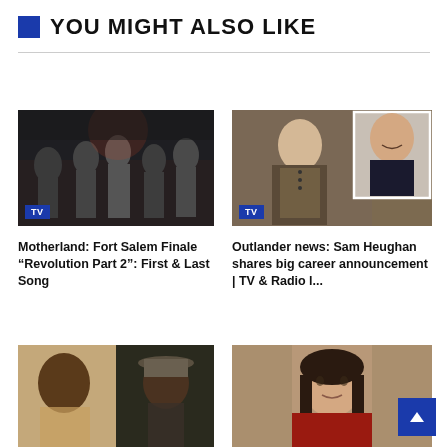YOU MIGHT ALSO LIKE
[Figure (photo): TV show scene with group of people in dark clothing, with TV badge overlay]
Motherland: Fort Salem Finale “Revolution Part 2”: First & Last Song
[Figure (photo): Two photos of Sam Heughan from Outlander, one in costume and one headshot, with TV badge overlay]
Outlander news: Sam Heughan shares big career announcement | TV & Radio l...
[Figure (photo): Two people in a scene, bottom left card]
[Figure (photo): Woman with dark hair smiling, bottom right card]